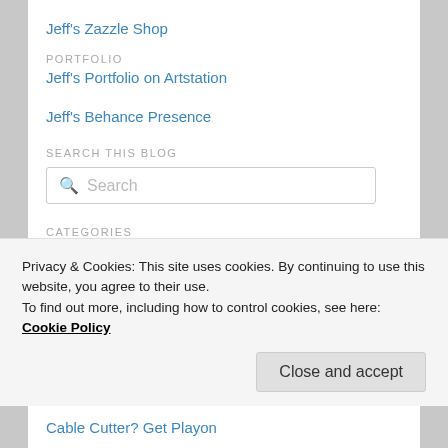Jeff's Zazzle Shop
PORTFOLIO
Jeff's Portfolio on Artstation
Jeff's Behance Presence
SEARCH THIS BLOG
CATEGORIES
Select Category
Privacy & Cookies: This site uses cookies. By continuing to use this website, you agree to their use.
To find out more, including how to control cookies, see here: Cookie Policy
Close and accept
Cable Cutter? Get Playon